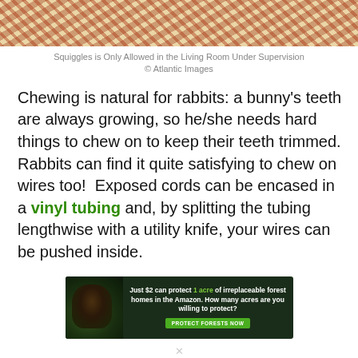[Figure (photo): A close-up photo of a decorative rug with red and beige patterns, partially visible at the top of the page.]
Squiggles is Only Allowed in the Living Room Under Supervision
© Atlantic Images
Chewing is natural for rabbits: a bunny's teeth are always growing, so he/she needs hard things to chew on to keep their teeth trimmed. Rabbits can find it quite satisfying to chew on wires too!  Exposed cords can be encased in a vinyl tubing and, by splitting the tubing lengthwise with a utility knife, your wires can be pushed inside.
[Figure (photo): Advertisement banner: dark green background with an image of a forest animal (possibly an orangutan), text reading 'Just $2 can protect 1 acre of irreplaceable forest homes in the Amazon. How many acres are you willing to protect?' with a green 'PROTECT FORESTS NOW' button.]